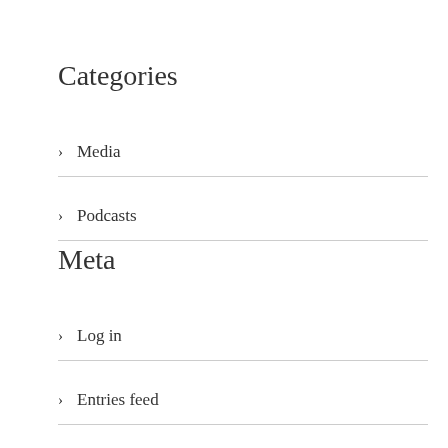Categories
Media
Podcasts
Meta
Log in
Entries feed